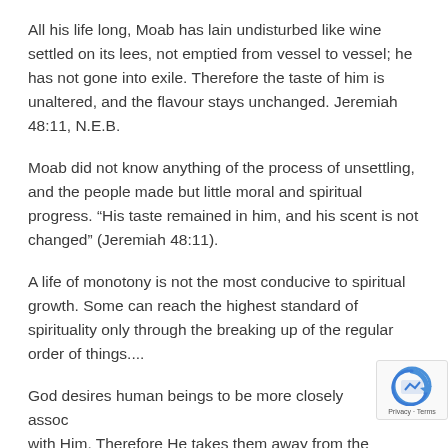All his life long, Moab has lain undisturbed like wine settled on its lees, not emptied from vessel to vessel; he has not gone into exile. Therefore the taste of him is unaltered, and the flavour stays unchanged. Jeremiah 48:11, N.E.B.
Moab did not know anything of the process of unsettling, and the people made but little moral and spiritual progress. “His taste remained in him, and his scent is not changed” (Jeremiah 48:11).
A life of monotony is not the most conducive to spiritual growth. Some can reach the highest standard of spirituality only through the breaking up of the regular order of things....
God desires human beings to be more closely associated with Him. Therefore He takes them away from their friends and acquaintances. When God was preparing